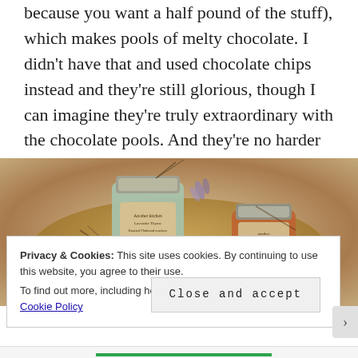because you want a half pound of the stuff), which makes pools of melty chocolate. I didn't have that and used chocolate chips instead and they're still glorious, though I can imagine they're truly extraordinary with the chocolate pools. And they're no harder than tollhouse assuming you have a tiny amount of turbinado sugar in your pantry.
[Figure (photo): A wicker basket containing mason jars with handwritten labels and dried herbs/lavender, photographed from above at an angle. Warm earthy tones with red and amber colored jar contents visible.]
Privacy & Cookies: This site uses cookies. By continuing to use this website, you agree to their use.
To find out more, including how to control cookies, see here: Cookie Policy
Close and accept